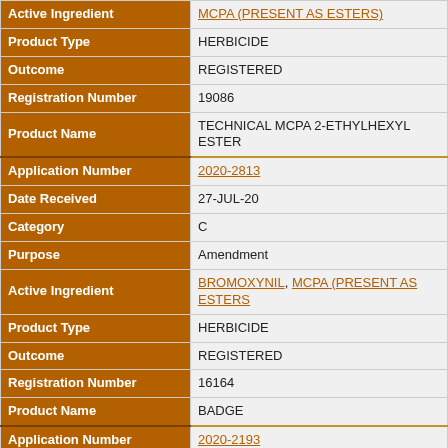| Field | Value |
| --- | --- |
| Active Ingredient | MCPA (PRESENT AS ESTERS) |
| Product Type | HERBICIDE |
| Outcome | REGISTERED |
| Registration Number | 19086 |
| Product Name | TECHNICAL MCPA 2-ETHYLHEXYL ESTER |
| Application Number | 2020-2813 |
| Date Received | 27-JUL-20 |
| Category | C |
| Purpose | Amendment |
| Active Ingredient | BROMOXYNIL, MCPA (PRESENT AS ESTERS) |
| Product Type | HERBICIDE |
| Outcome | REGISTERED |
| Registration Number | 16164 |
| Product Name | BADGE |
| Application Number | 2020-2193 |
| Date Received | 06-JUL-20 |
| Category | C |
| Purpose | New |
| Active Ingredient | MCPA (PRESENT AS ESTERS) |
| Product Type | HERBICIDE |
| Outcome | REGISTERED |
| Registration Number | 34073 |